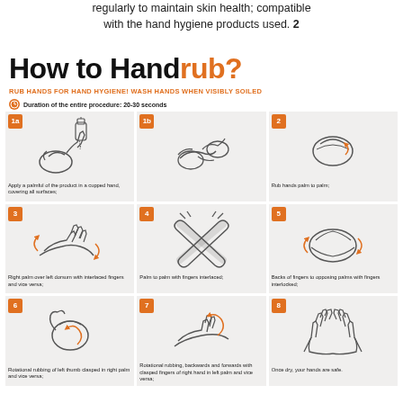regularly to maintain skin health; compatible with the hand hygiene products used. 2
How to Handrub?
RUB HANDS FOR HAND HYGIENE! WASH HANDS WHEN VISIBLY SOILED
Duration of the entire procedure: 20-30 seconds
[Figure (infographic): 9-step illustrated hand rubbing technique guide showing steps 1a, 1b, 2, 3, 4, 5, 6, 7, 8 with hand diagrams and captions]
Apply a palmful of the product in a cupped hand, covering all surfaces;
Rub hands palm to palm;
Right palm over left dorsum with interlaced fingers and vice versa;
Palm to palm with fingers interlaced;
Backs of fingers to opposing palms with fingers interlocked;
Rotational rubbing of left thumb clasped in right palm and vice versa;
Rotational rubbing, backwards and forwards with clasped fingers of right hand in left palm and vice versa;
Once dry, your hands are safe.